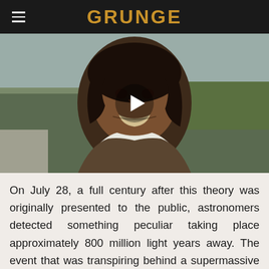GRUNGE
[Figure (photo): Video thumbnail showing a man smiling outdoors near a sidewalk and road, with a play button overlay in the center]
On July 28, a full century after this theory was originally presented to the public, astronomers detected something peculiar taking place approximately 800 million light years away. The event that was transpiring behind a supermassive black hole is now believed to serve as foundational proof for the theory of relativity (via